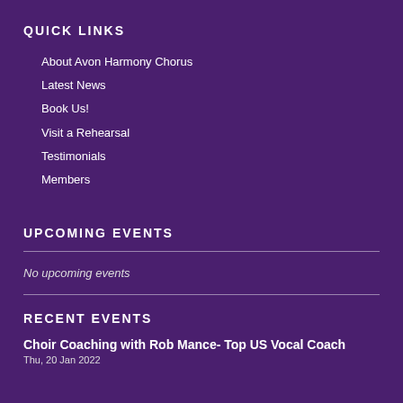QUICK LINKS
About Avon Harmony Chorus
Latest News
Book Us!
Visit a Rehearsal
Testimonials
Members
UPCOMING EVENTS
No upcoming events
RECENT EVENTS
Choir Coaching with Rob Mance- Top US Vocal Coach
Thu, 20 Jan 2022